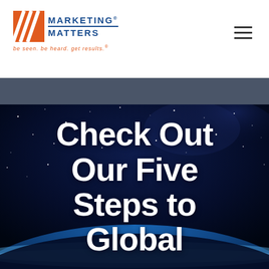[Figure (logo): Marketing Matters logo with orange diagonal stripe icon and blue wordmark, tagline 'be seen. be heard. get results.']
[Figure (other): Hamburger menu icon (three horizontal lines) in top right corner]
[Figure (photo): Space/galaxy background with stars and Earth's horizon glowing blue at bottom, with large white bold text overlay reading 'Check Out Our Five Steps to Global']